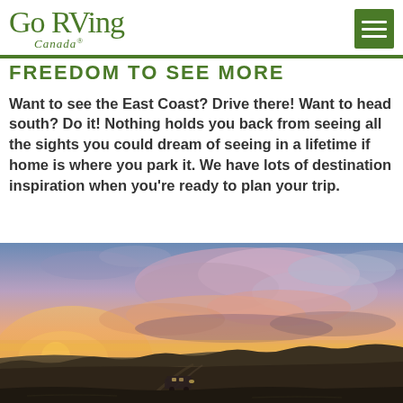Go RVing Canada
Freedom To See More
Want to see the East Coast? Drive there! Want to head south? Do it! Nothing holds you back from seeing all the sights you could dream of seeing in a lifetime if home is where you park it. We have lots of destination inspiration when you're ready to plan your trip.
[Figure (photo): Aerial/elevated view of an RV on a prairie road at sunset with dramatic orange and pink clouds over a vast open landscape with rolling badlands terrain in the distance.]